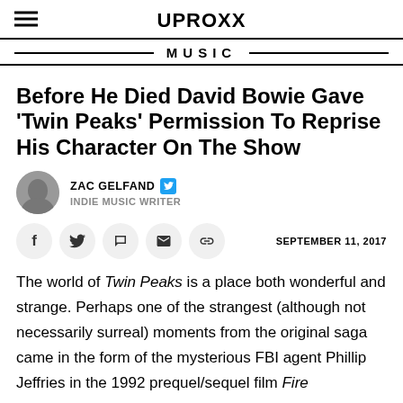UPROXX
MUSIC
Before He Died David Bowie Gave ‘Twin Peaks’ Permission To Reprise His Character On The Show
ZAC GELFAND
INDIE MUSIC WRITER
SEPTEMBER 11, 2017
The world of Twin Peaks is a place both wonderful and strange. Perhaps one of the strangest (although not necessarily surreal) moments from the original saga came in the form of the mysterious FBI agent Phillip Jeffries in the 1992 prequel/sequel film Fire